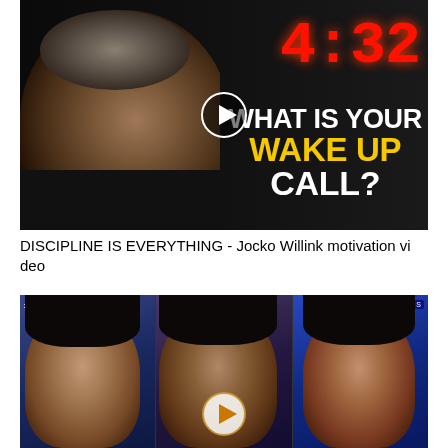[Figure (screenshot): YouTube video thumbnail showing a stern-looking bald man on a dark background on the left, with red digital clock showing 4:32 at top right, and white bold text reading WHAT IS YOUR WAKE UP CALL? in white and yellow]
DISCIPLINE IS EVERYTHING - Jocko Willink motivation video
[Figure (screenshot): Video thumbnail showing three panels side by side of a young Black woman with dark hair, set against a blue background, with a play button overlay in the center]